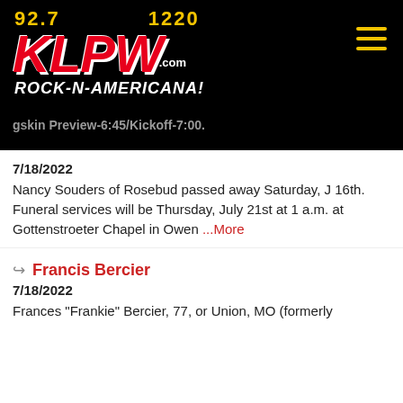[Figure (logo): KLPW radio station logo with frequencies 92.7 and 1220, red KLPW text with .com, tagline ROCK-N-AMERICANA! on black background]
gskin Preview-6:45/Kickoff-7:00.
7/18/2022
Nancy Souders of Rosebud passed away Saturday, J 16th. Funeral services will be Thursday, July 21st at 1 a.m. at Gottenstroeter Chapel in Owen ...More
Francis Bercier
7/18/2022
Frances "Frankie" Bercier, 77, or Union, MO (formerly